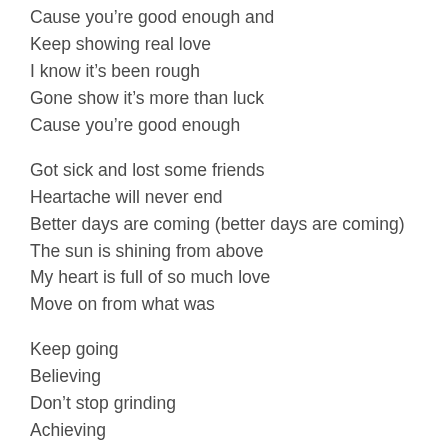Cause you're good enough and
Keep showing real love
I know it's been rough
Gone show it's more than luck
Cause you're good enough

Got sick and lost some friends
Heartache will never end
Better days are coming (better days are coming)
The sun is shining from above
My heart is full of so much love
Move on from what was

Keep going
Believing
Don't stop grinding
Achieving
You made it this far (you made it this far)
Keep striving
Go higher